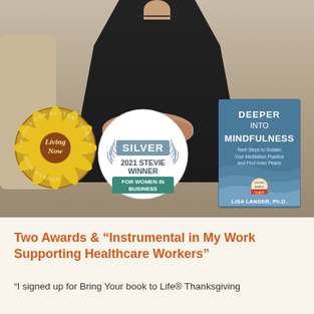[Figure (photo): Woman in black clothing seated, with hands clasped. Overlaid with Living Now Book Awards badge (sunflower medallion), Silver 2021 Stevie Winner For Women In Business badge (circular white with laurels), and a book cover for 'Deeper Into Mindfulness' by Lisa Langer, Ph.D.]
Two Awards & “Instrumental in My Work Supporting Healthcare Workers”
“I signed up for Bring Your book to Life® Thanksgiving